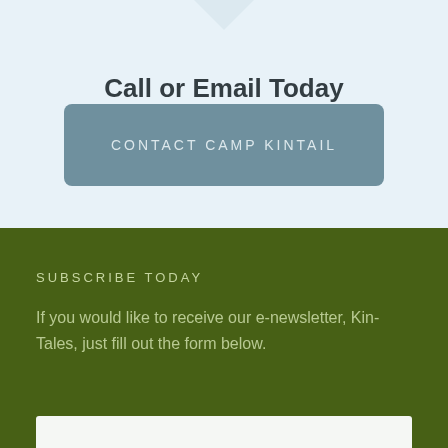Call or Email Today
CONTACT CAMP KINTAIL
SUBSCRIBE TODAY
If you would like to receive our e-newsletter, Kin-Tales, just fill out the form below.